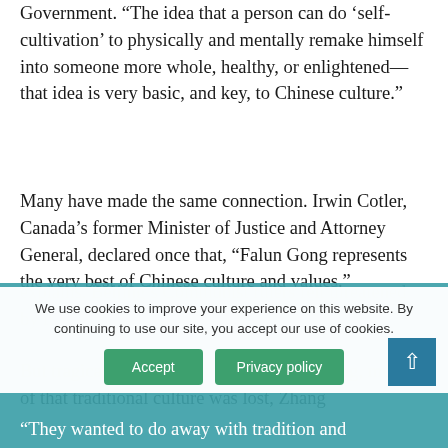Government. “The idea that a person can do ‘self-cultivation’ to physically and mentally remake himself into someone more whole, healthy, or enlightened—that idea is very basic, and key, to Chinese culture.”
Many have made the same connection. Irwin Cotler, Canada’s former Minister of Justice and Attorney General, declared once that, “Falun Gong represents the very best of Chinese culture and values.”
But tragically, before Falun Gong came along, much of that traditional culture was lost, Zhang explains. Beijing’s Communist rulers felt threatened by it.
We use cookies to improve your experience on this website. By continuing to use our site, you accept our use of cookies.
“They wanted to do away with tradition and